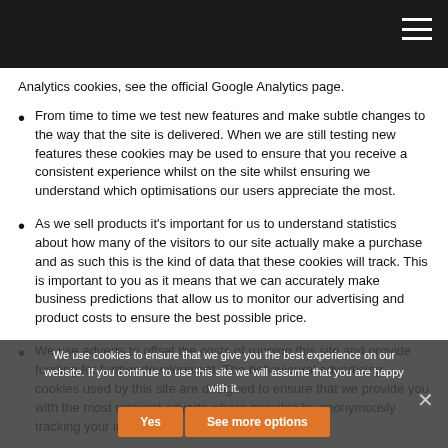Analytics cookies, see the official Google Analytics page.
From time to time we test new features and make subtle changes to the way that the site is delivered. When we are still testing new features these cookies may be used to ensure that you receive a consistent experience whilst on the site whilst ensuring we understand which optimisations our users appreciate the most.
As we sell products it’s important for us to understand statistics about how many of the visitors to our site actually make a purchase and as such this is the kind of data that these cookies will track. This is important to you as it means that we can accurately make business predictions that allow us to monitor our advertising and product costs to ensure the best possible price.
We use adverts to offset the costs of running this site and provide funding for further development. The behavioural advertising cookies used by this site are designed to ensure that we provide you with the most relevant adverts where possible by anonymously tracking your interests and presenting similar things that may be of interest.
We use cookies to ensure that we give you the best experience on our website. If you continue to use this site we will assume that you are happy with it.